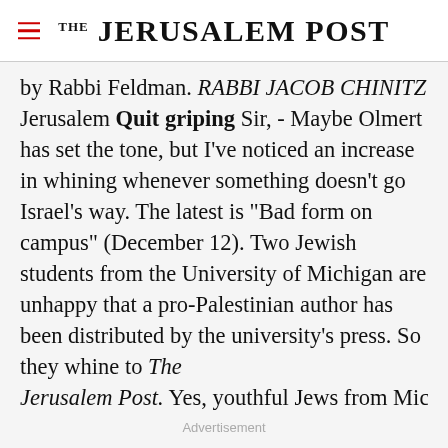THE JERUSALEM POST
by Rabbi Feldman. RABBI JACOB CHINITZ Jerusalem Quit griping Sir, - Maybe Olmert has set the tone, but I've noticed an increase in whining whenever something doesn't go Israel's way. The latest is "Bad form on campus" (December 12). Two Jewish students from the University of Michigan are unhappy that a pro-Palestinian author has been distributed by the university's press. So they whine to The Jerusalem Post. Yes, youthful Jews from Michigan
Advertisement